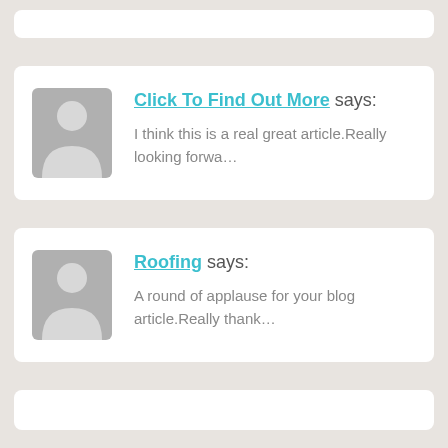Click To Find Out More says:
I think this is a real great article.Really looking forwa…
Roofing says:
A round of applause for your blog article.Really thank…